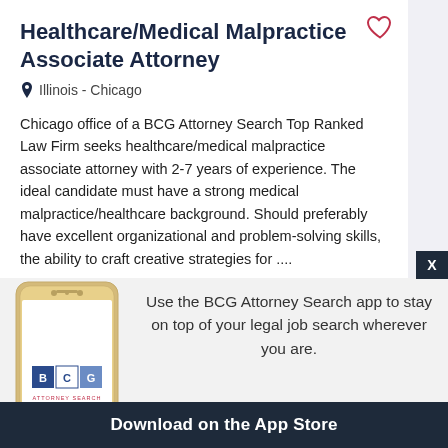Healthcare/Medical Malpractice Associate Attorney
Illinois - Chicago
Chicago office of a BCG Attorney Search Top Ranked Law Firm seeks healthcare/medical malpractice associate attorney with 2-7 years of experience. The ideal candidate must have a strong medical malpractice/healthcare background. Should preferably have excellent organizational and problem-solving skills, the ability to craft creative strategies for ....
Practice Areas :
Health Care - Compliance, Transactions, HIPAA
Use the BCG Attorney Search app to stay on top of your legal job search wherever you are.
Download on the App Store